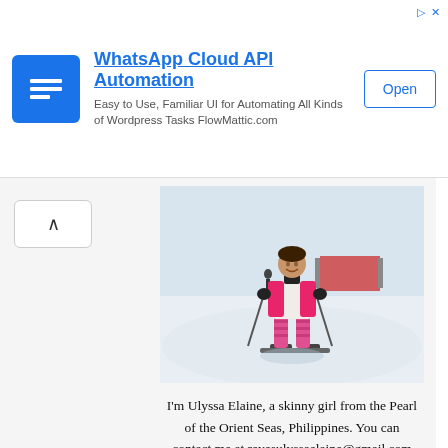[Figure (screenshot): Advertisement banner for WhatsApp Cloud API Automation by FlowMattic.com, with a blue square icon, bold blue title, subtitle text, and an Open button]
[Figure (photo): A young girl wearing a pink jacket and pink striped leggings, standing on skis holding ski poles on a snowy slope]
I'm Ulyssa Elaine, a skinny girl from the Pearl of the Orient Seas, Philippines. You can contact me at reyesulyssaelaine@gmail.com for collaboration.